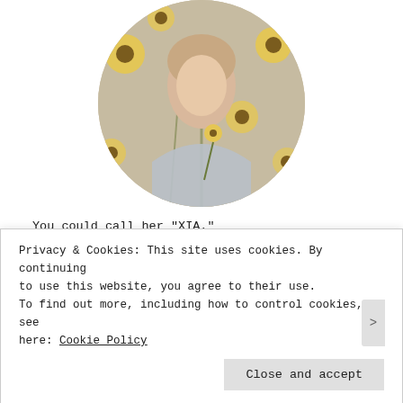[Figure (photo): Circular profile photo of a young woman in a light blue/grey off-shoulder top surrounded by sunflowers, holding a sunflower stem near her face.]
You could call her "XIA."
Krish Ellery is personal and occasional lifestyle blogger from Canada who graduated with a Bachelor of Science in Nursing. 🛡🇨🇦
Far from her choice of career, she wants to share
Privacy & Cookies: This site uses cookies. By continuing to use this website, you agree to their use. To find out more, including how to control cookies, see here: Cookie Policy
Close and accept